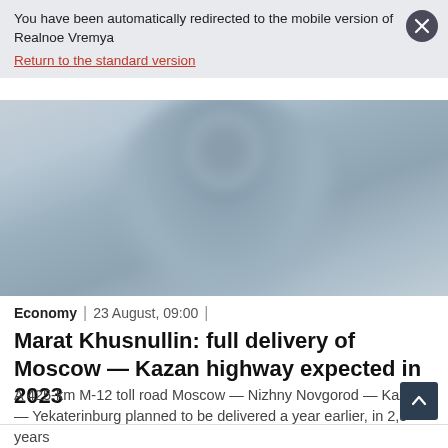You have been automatically redirected to the mobile version of Realnoe Vremya
Return to the standard version
[Figure (photo): Blurred photo of a person wearing a light blue shirt, upper body visible, background is light grey/white]
Economy | 23 August, 09:00 |
Marat Khusnullin: full delivery of Moscow — Kazan highway expected in 2023
A 425-km M-12 toll road Moscow — Nizhny Novgorod — Kazan — Yekaterinburg planned to be delivered a year earlier, in 2,5 years